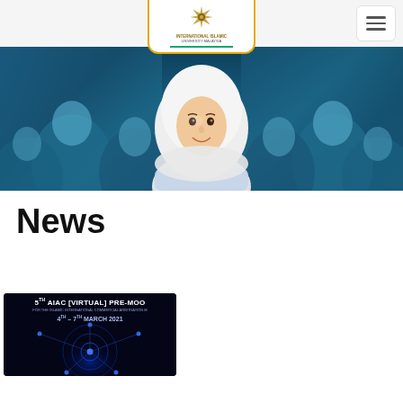International Islamic University Malaysia — Navigation header with logo and hamburger menu
[Figure (photo): Hero banner photo showing a smiling young woman wearing a white hijab in the foreground, surrounded by other attendees in blue hijabs and attire in the background. Blue-toned crowd scene.]
News
[Figure (photo): News card thumbnail: dark blue background with glowing network graphic overlay. Text reads '5TH AIAC [VIRTUAL] PRE-MOO' on top line, subtitle text about Islamic International Commercial Arbitration, '4TH – 7TH MARCH 2021' below.]